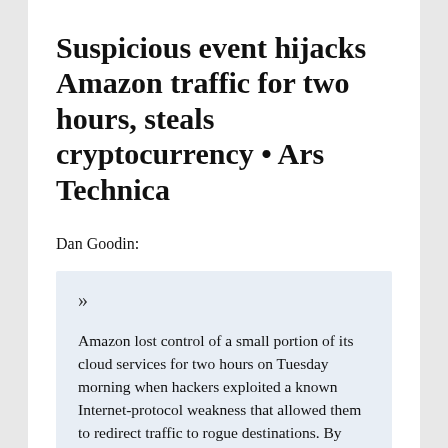Suspicious event hijacks Amazon traffic for two hours, steals cryptocurrency • Ars Technica
Dan Goodin:
» Amazon lost control of a small portion of its cloud services for two hours on Tuesday morning when hackers exploited a known Internet-protocol weakness that allowed them to redirect traffic to rogue destinations. By subverting Amazon's domain-resolution service, the attackers masqueraded as cryptocurrency website MyEtherWallet.com and stole about $150,000 in digital coins from unsuspecting users. The attack was targeted…